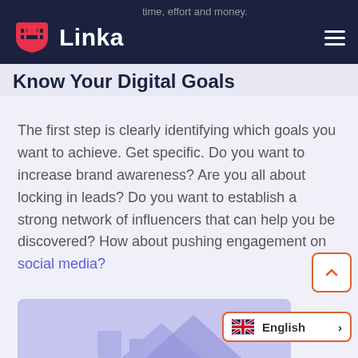time, effort and money.
[Figure (logo): Linka brand logo with red shield/visor icon and white text 'Linka' on dark navy background]
Know Your Digital Goals
The first step is clearly identifying which goals you want to achieve. Get specific. Do you want to increase brand awareness? Are you all about locking in leads? Do you want to establish a strong network of influencers that can help you be discovered? How about pushing engagement on social media?
[Figure (illustration): Purple/lavender colored illustration area at the bottom of the page with decorative geometric shapes]
English >